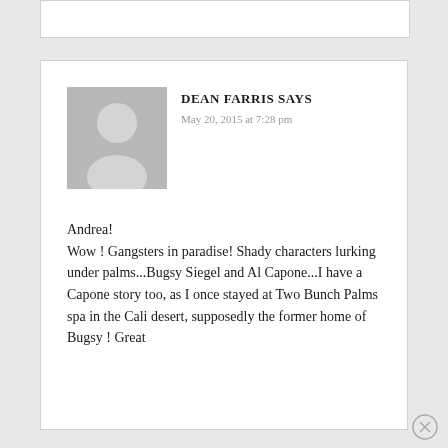[Figure (photo): Default user avatar placeholder showing silhouette of a person (head and shoulders) on a grey background]
DEAN FARRIS SAYS
May 20, 2015 at 7:28 pm
Andrea!
Wow ! Gangsters in paradise! Shady characters lurking under palms...Bugsy Siegel and Al Capone...I have a Capone story too, as I once stayed at Two Bunch Palms spa in the Cali desert, supposedly the former home of Bugsy ! Great